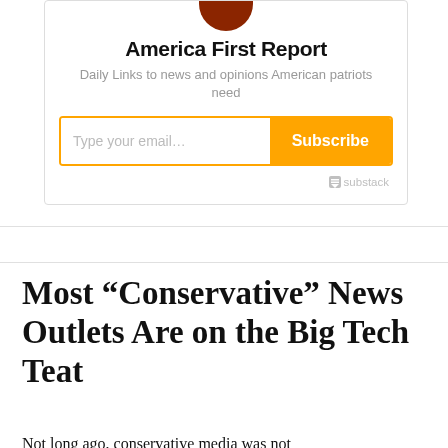[Figure (logo): Circular logo image with dark reddish-brown color for America First Report]
America First Report
Daily Links to news and opinions American patriots need
[Figure (other): Email subscription widget with text input 'Type your email…' and orange Subscribe button, with Substack branding]
Most “Conservative” News Outlets Are on the Big Tech Teat
Not long ago, conservative media was not